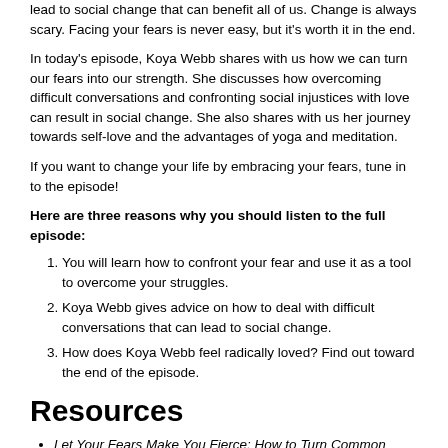lead to social change that can benefit all of us. Change is always scary. Facing your fears is never easy, but it's worth it in the end.
In today's episode, Koya Webb shares with us how we can turn our fears into our strength. She discusses how overcoming difficult conversations and confronting social injustices with love can result in social change. She also shares with us her journey towards self-love and the advantages of yoga and meditation.
If you want to change your life by embracing your fears, tune in to the episode!
Here are three reasons why you should listen to the full episode:
You will learn how to confront your fear and use it as a tool to overcome your struggles.
Koya Webb gives advice on how to deal with difficult conversations that can lead to social change.
How does Koya Webb feel radically loved? Find out toward the end of the episode.
Resources
Let Your Fears Make You Fierce: How to Turn Common Obstacles Into Seeds for Growth by Koya Webb
Koya Webb's websit e
Get Loved Up Podcast by Koya Webb